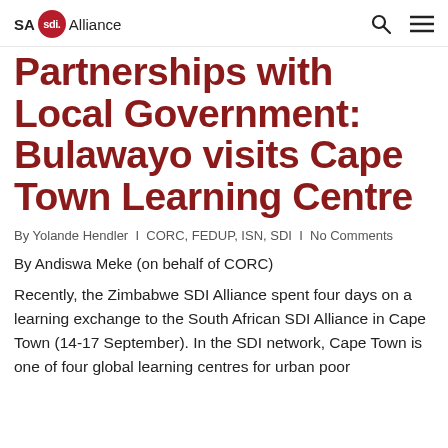SA sdi Alliance
Partnerships with Local Government: Bulawayo visits Cape Town Learning Centre
By Yolande Hendler | CORC, FEDUP, ISN, SDI | No Comments
By Andiswa Meke (on behalf of CORC)
Recently, the Zimbabwe SDI Alliance spent four days on a learning exchange to the South African SDI Alliance in Cape Town (14-17 September). In the SDI network, Cape Town is one of four global learning centres for urban poor